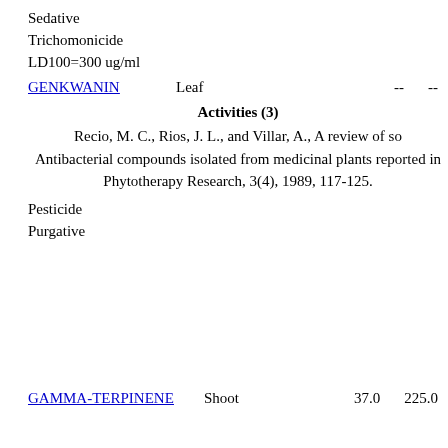Sedative
Trichomonicide LD100=300 ug/ml
GENKWANIN   Leaf   --   --
Activities (3)
Recio, M. C., Rios, J. L., and Villar, A., A review of so Antibacterial compounds isolated from medicinal plants reported in Phytotherapy Research, 3(4), 1989, 117-125.
Pesticide
Purgative
GAMMA-TERPINENE   Shoot   37.0   225.0